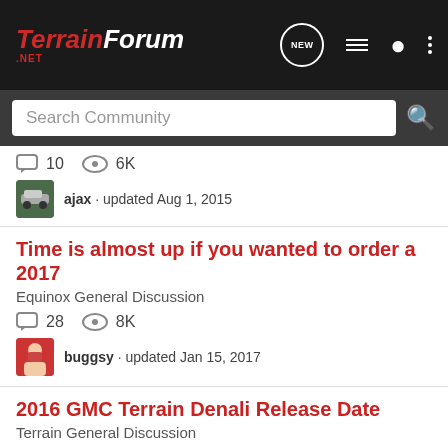TERRAIN FORUM .NET — Search Community — navigation icons
10  6K   ajax · updated Aug 1, 2015
Time is almost up if you wanted to order a 2017
Equinox General Discussion
28  8K
buggsy · updated Jan 15, 2017
2016 GMC Terrain Denali Release Date
Terrain General Discussion
8
[Figure (screenshot): Nitto All-New Nomad Grappler Crossover-Terrain Tire advertisement banner with tire image]